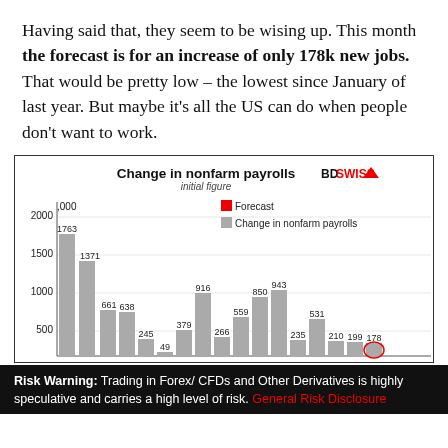Having said that, they seem to be wising up. This month the forecast is for an increase of only 178k new jobs. That would be pretty low – the lowest since January of last year. But maybe it's all the US can do when people don't want to work.
[Figure (bar-chart): Change in nonfarm payrolls]
Risk Warning: Trading in Forex/ CFDs and Other Derivatives is highly speculative and carries a high level of risk. General Risk Disclosure